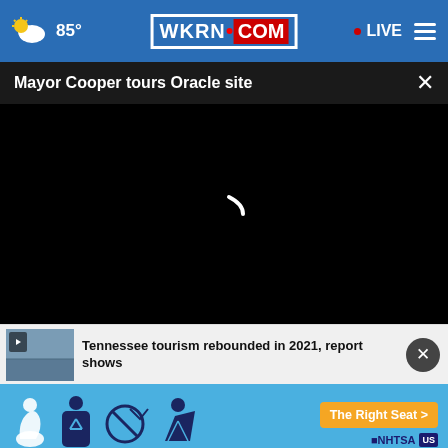85° WKRN.COM • LIVE
Mayor Cooper tours Oracle site
[Figure (screenshot): Black video player area with loading spinner]
Tennessee tourism rebounded in 2021, report shows
[Figure (infographic): NHTSA car seat safety advertisement: The Right Seat > with car seat icons]
Giles County